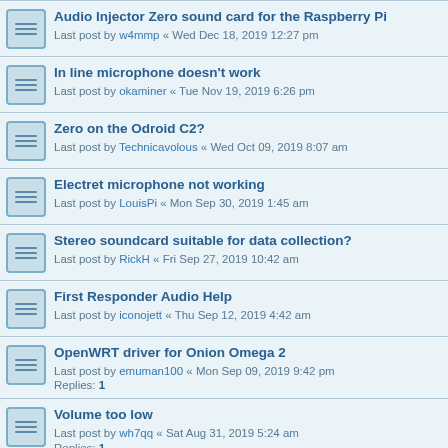Audio Injector Zero sound card for the Raspberry Pi
Last post by w4mmp « Wed Dec 18, 2019 12:27 pm
In line microphone doesn't work
Last post by okaminer « Tue Nov 19, 2019 6:26 pm
Zero on the Odroid C2?
Last post by Technicavolous « Wed Oct 09, 2019 8:07 am
Electret microphone not working
Last post by LouisPi « Mon Sep 30, 2019 1:45 am
Stereo soundcard suitable for data collection?
Last post by RickH « Fri Sep 27, 2019 10:42 am
First Responder Audio Help
Last post by iconojett « Thu Sep 12, 2019 4:42 am
OpenWRT driver for Onion Omega 2
Last post by emuman100 « Mon Sep 09, 2019 9:42 pm
Replies: 1
Volume too low
Last post by wh7qq « Sat Aug 31, 2019 5:24 am
Replies: 1
Classic Audioinjector card with Pi Zero?
Last post by Dadoc « Fri Aug 23, 2019 3:27 am
Dimensions of Audio Injector Board
Last post by echoflux « Sun Jul 28, 2019 12:59 am
BT Headset + AudioInjector <--> Motorcycle Radio/Nav
Last post by AllanN « Tue Jul 23, 2019 12:22 am